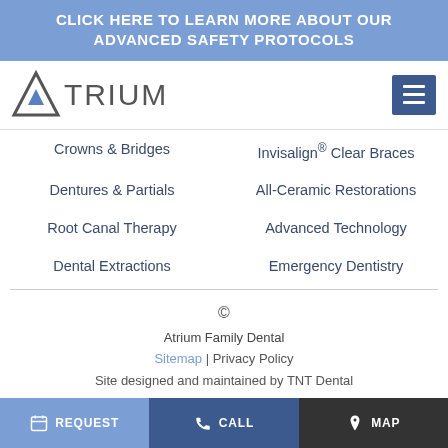CLICK HERE TO LEARN MORE ABOUT OUR ADVANCED SAFETY PROTOCOLS
[Figure (logo): Atrium dental logo with triangle/mountain icon and text ATRIUM, plus hamburger menu icon]
Crowns & Bridges
Invisalign® Clear Braces
Dentures & Partials
All-Ceramic Restorations
Root Canal Therapy
Advanced Technology
Dental Extractions
Emergency Dentistry
© Atrium Family Dental | Sitemap | Privacy Policy | Site designed and maintained by TNT Dental
REQUEST | CALL | MAP